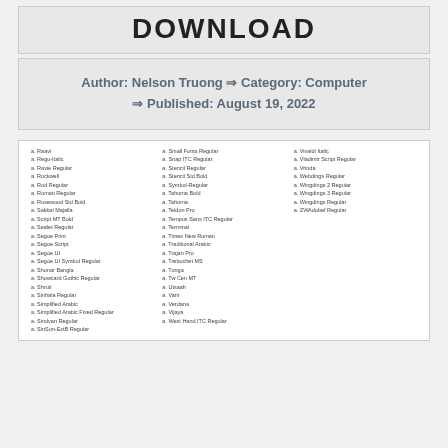DOWNLOAD
Author: Nelson Truong ⇒ Category: Computer ⇒ Published: August 19, 2022
[Figure (screenshot): A list of fonts in three columns including items such as Raavi, Regu-Italic, Ravie Regular, Rockwell, Rod Regular, Roman Regular, Rosewood Std Bold, Sakkal Majalla, Script MT Bold, Sealet Regular, Segoe Print, Segoe Script, Segoe UI, Segoe UI Symbol Regular, Shonar Bangla, Showcard Gothic Regular, Shruti, Sinhala Regular, Simplified Arabic, Simplified Arabic Fixed Regular, Sindvan Regular, SinSun-ExtB Regular, Small Fonts Regular, Snap ITC Regular, Stencil Regular, Stencil Std Bold, Symbol-Regular, Tahoma Bold, Tahoma, Teldon Pro, Tempus Sans ITC Regular, Terminal, Times New Roman, Traditional Arabic, Trajan Pro, Trebuchet MS, Tunga, Tw Cen MT, Utsaah, Vani, Verdana, Vijaya, West Hand ITC Regular, Vivaldi Italic, Vladimir Script Regular, Vrinda, Webdings Regular, Wingdings 2 Regular, Wingdings 3 Regular, Wingdings Regular, ZWAdobef Regular]